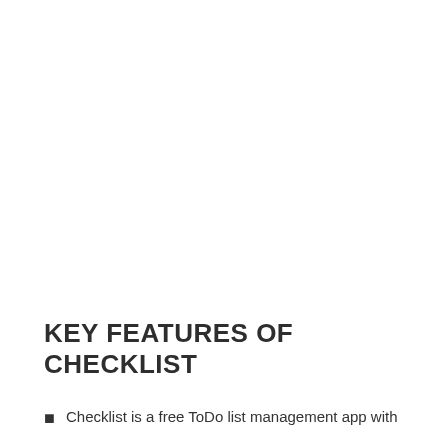KEY FEATURES OF CHECKLIST
Checklist is a free ToDo list management app with